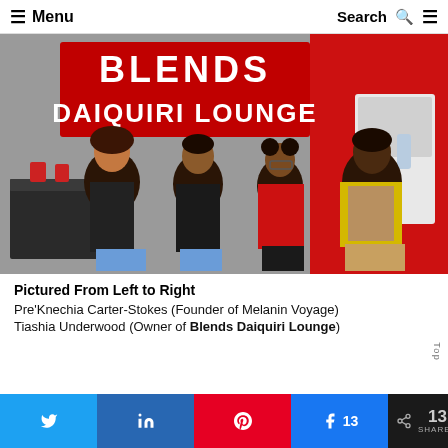☰ Menu   Search 🔍 ☰
[Figure (photo): Four women standing inside Blends Daiquiri Lounge in front of a large red sign reading 'BLENDS DAIQUIRI LOUNGE'. From left to right: a woman in a black top with jeans, a woman in a black Blends t-shirt, a woman in a red Blends t-shirt with glasses, and a woman in a leopard print top with yellow cardigan.]
Pictured From Left to Right
Pre'Knechia Carter-Stokes (Founder of Melanin Voyage)
Tiashia Underwood (Owner of Blends Daiquiri Lounge)